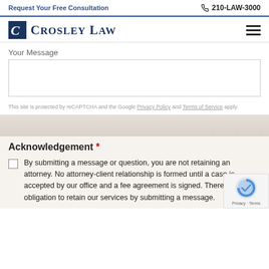Request Your Free Consultation   210-LAW-3000
[Figure (logo): Crosley Law firm logo with stylized C icon and firm name in serif font]
Your Message
This site is protected by reCAPTCHA and the Google Privacy Policy and Terms of Service apply.
Acknowledgement *
By submitting a message or question, you are not retaining an attorney. No attorney-client relationship is formed until a case is accepted by our office and a fee agreement is signed. There is no obligation to retain our services by submitting a message.